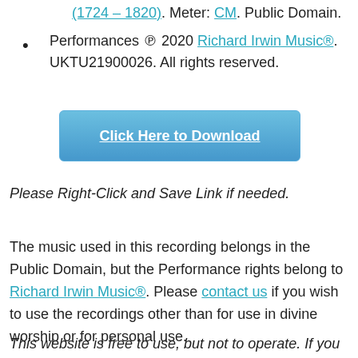(1724 – 1820). Meter: CM. Public Domain.
Performances ℗ 2020 Richard Irwin Music®. UKTU21900026. All rights reserved.
[Figure (other): Blue download button with text 'Click Here to Download']
Please Right-Click and Save Link if needed.
The music used in this recording belongs in the Public Domain, but the Performance rights belong to Richard Irwin Music®. Please contact us if you wish to use the recordings other than for use in divine worship or for personal use.
This website is free to use, but not to operate. If you